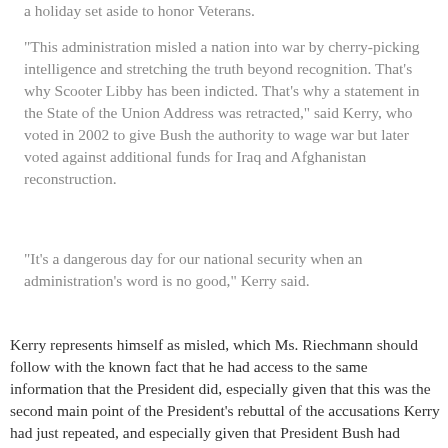a holiday set aside to honor Veterans.
"This administration misled a nation into war by cherry-picking intelligence and stretching the truth beyond recognition. That's why Scooter Libby has been indicted. That's why a statement in the State of the Union Address was retracted," said Kerry, who voted in 2002 to give Bush the authority to wage war but later voted against additional funds for Iraq and Afghanistan reconstruction.
"It's a dangerous day for our national security when an administration's word is no good," Kerry said.
Kerry represents himself as misled, which Ms. Riechmann should follow with the known fact that he had access to the same information that the President did, especially given that this was the second main point of the President's rebuttal of the accusations Kerry had just repeated, and especially given that President Bush had quoted Kerry specifically to example how others reacted to the same pre-war intelligence